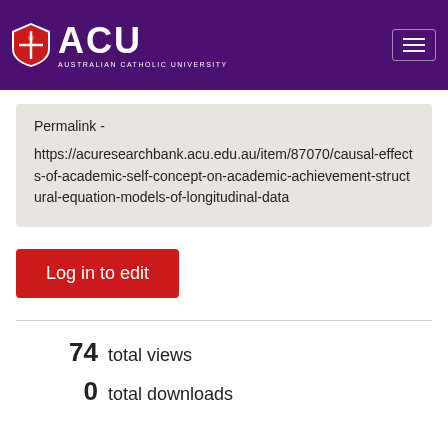[Figure (logo): ACU (Australian Catholic University) logo with shield and text on purple header background]
Permalink - https://acuresearchbank.acu.edu.au/item/87070/causal-effects-of-academic-self-concept-on-academic-achievement-structural-equation-models-of-longitudinal-data
Log in to edit
74  total views
0  total downloads